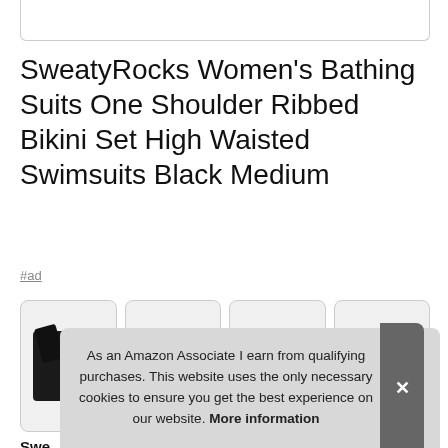[Figure (other): Top portion of a product image (partially visible white box)]
SweatyRocks Women's Bathing Suits One Shoulder Ribbed Bikini Set High Waisted Swimsuits Black Medium
#ad
[Figure (photo): Four product thumbnail images showing black bikini swimsuit pieces]
Swe
As an Amazon Associate I earn from qualifying purchases. This website uses the only necessary cookies to ensure you get the best experience on our website. More information